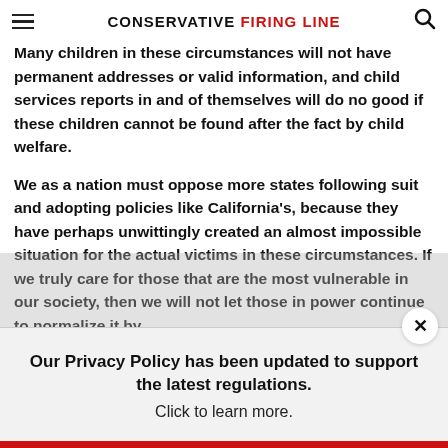CONSERVATIVE FIRING LINE
Many children in these circumstances will not have permanent addresses or valid information, and child services reports in and of themselves will do no good if these children cannot be found after the fact by child welfare.
We as a nation must oppose more states following suit and adopting policies like California's, because they have perhaps unwittingly created an almost impossible situation for the actual victims in these circumstances. If we truly care for those that are the most vulnerable in our society, then we will not let those in power continue to normalize it by
Our Privacy Policy has been updated to support the latest regulations. Click to learn more.